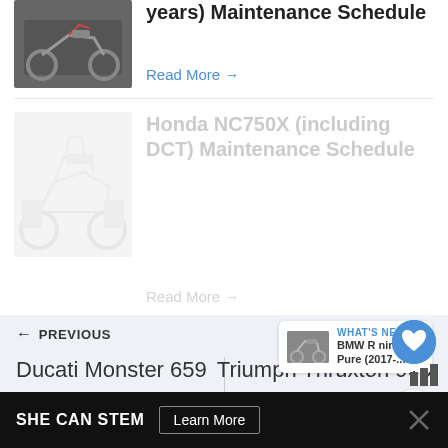[Figure (photo): Motorcycle (dark colored adventure bike) thumbnail image, partially visible at top]
years) Maintenance Schedule
Read More →
[Figure (photo): Honda NC750X motorcycle thumbnail image, white/gray colored adventure bike, faded]
Honda NC750X (including DCT) Maintenance Schedule
Read More →
[Figure (other): Blue circular heart/like button floating UI element]
1
[Figure (other): White circular share button floating UI element]
← PREVIOUS
[Figure (photo): Small BMW R nineT Pure motorcycle thumbnail in WHAT'S NEXT widget]
WHAT'S NEXT → BMW R nineT Pure (2017-...
Ducati Monster 659
Triumph Thruxton 900
[Figure (other): SHE CAN STEM advertisement banner at bottom, dark background with Learn More button and X close button]